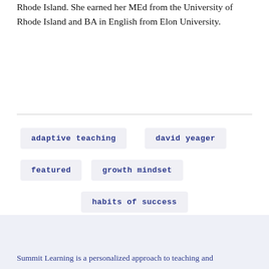Rhode Island. She earned her MEd from the University of Rhode Island and BA in English from Elon University.
Adaptive Teaching
David Yeager
Featured
Growth Mindset
Habits of Success
Social Emotional Skills
Summit Learning is a personalized approach to teaching and